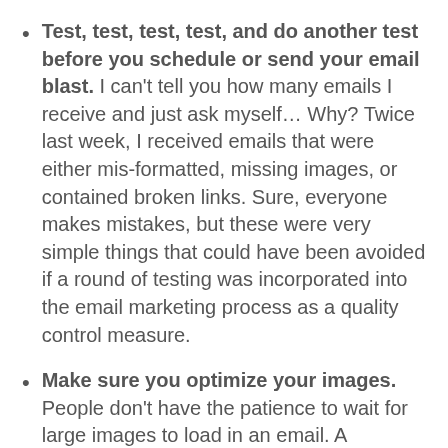Test, test, test, test, and do another test before you schedule or send your email blast. I can't tell you how many emails I receive and just ask myself… Why? Twice last week, I received emails that were either mis-formatted, missing images, or contained broken links. Sure, everyone makes mistakes, but these were very simple things that could have been avoided if a round of testing was incorporated into the email marketing process as a quality control measure.
Make sure you optimize your images. People don't have the patience to wait for large images to load in an email. A particular daily email publication that I follow often features vintage artwork and vintage graphic design images of historical significance, but it sometimes takes 2 minutes for the entire email to load. Make sure you are saving your images so the file size is less than 50kb. That will ensure that they load more quickly for your recipients.